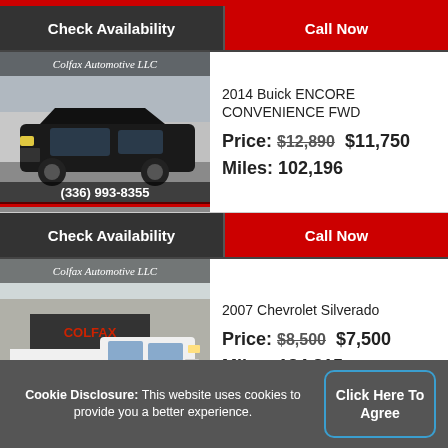Check Availability | Call Now
[Figure (photo): Black 2014 Buick Encore SUV in a parking lot, Colfax Automotive LLC watermark, phone number (336) 993-8355]
2014 Buick ENCORE CONVENIENCE FWD
Price: $12,890  $11,750
Miles: 102,196
Check Availability | Call Now
[Figure (photo): White 2007 Chevrolet Silverado pickup truck in a parking lot, Colfax Automotive LLC watermark]
2007 Chevrolet Silverado
Price: $8,500  $7,500
Miles: 184,215
Cookie Disclosure: This website uses cookies to provide you a better experience.
Click Here To Agree